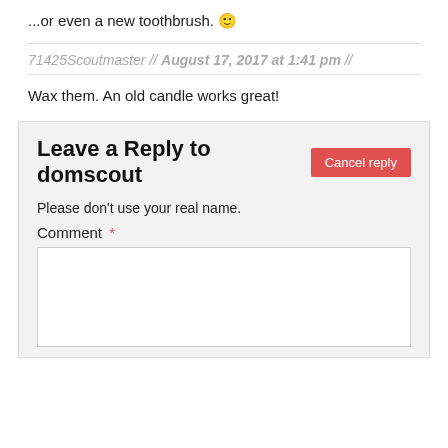...or even a new toothbrush. 🙂
71425Scoutmaster // August 17, 2017 at 1:41 pm //
Wax them. An old candle works great!
Leave a Reply to domscout Cancel reply
Please don't use your real name.
Comment *